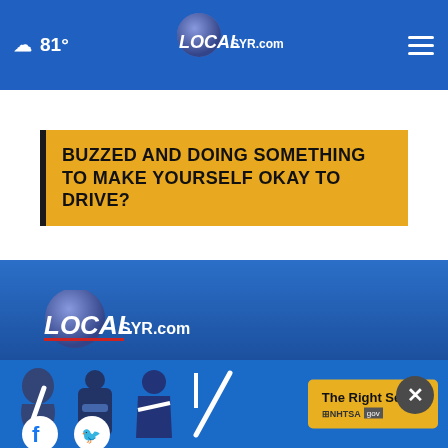81° LOCALsyr.com
BUZZED AND DOING SOMETHING TO MAKE YOURSELF OKAY TO DRIVE?
[Figure (logo): LOCALsyr.com logo in blue footer section]
Follow Us
[Figure (screenshot): NHTSA The Right Seat ad banner at bottom with car seat safety icons]